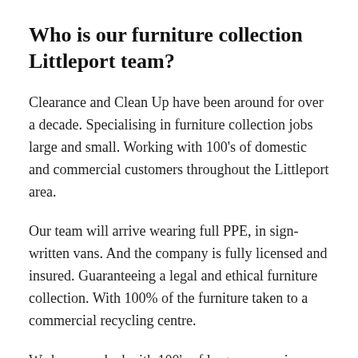Who is our furniture collection Littleport team?
Clearance and Clean Up have been around for over a decade. Specialising in furniture collection jobs large and small. Working with 100's of domestic and commercial customers throughout the Littleport area.
Our team will arrive wearing full PPE, in sign-written vans. And the company is fully licensed and insured. Guaranteeing a legal and ethical furniture collection. With 100% of the furniture taken to a commercial recycling centre.
We have worked with 100's of large companies. From local suppliers to some of nations largest holdings...